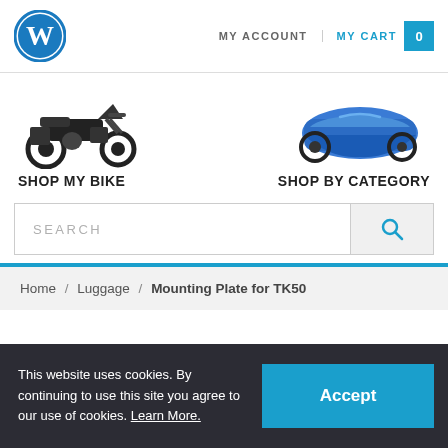MY ACCOUNT | MY CART 0
[Figure (illustration): Motorcycle (adventure touring bike with luggage) icon for Shop My Bike]
SHOP MY BIKE
[Figure (illustration): Motorcycle covered with blue cover icon for Shop By Category]
SHOP BY CATEGORY
SEARCH
Home / Luggage / Mounting Plate for TK50
This website uses cookies. By continuing to use this site you agree to our use of cookies. Learn More.
Accept